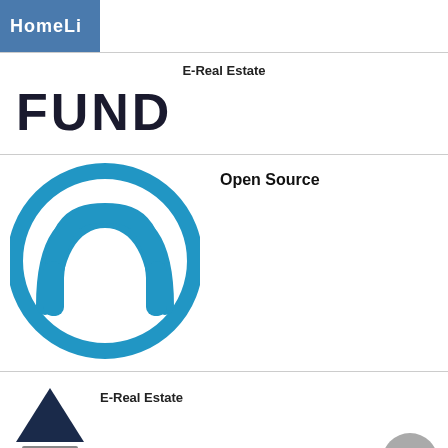[Figure (logo): HomeLi logo — blue rectangle with white text 'HomeLi' (partially visible)]
E-Real Estate
FUND
Open Source
[Figure (logo): MuleSoft / Mule logo — blue circular ring with stylized M letter inside, white background]
E-Real Estate
[Figure (logo): Dark navy triangle logo with a grey horizontal bar beneath it — partially visible at bottom]
[Figure (other): Grey circular scroll-to-top button with upward chevron arrow]